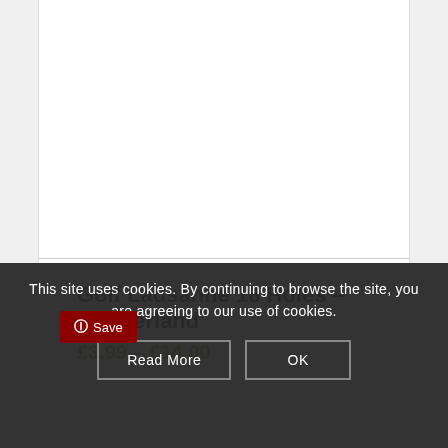Golf Lausanne 18 Holes – Switzerland
£3.99 – £14.00
This site uses cookies. By continuing to browse the site, you are agreeing to our use of cookies.
Read More
OK